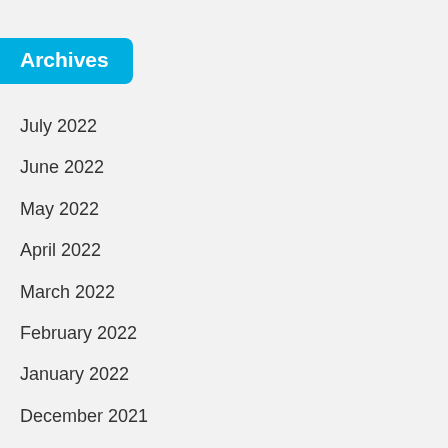Archives
July 2022
June 2022
May 2022
April 2022
March 2022
February 2022
January 2022
December 2021
November 2021
October 2021